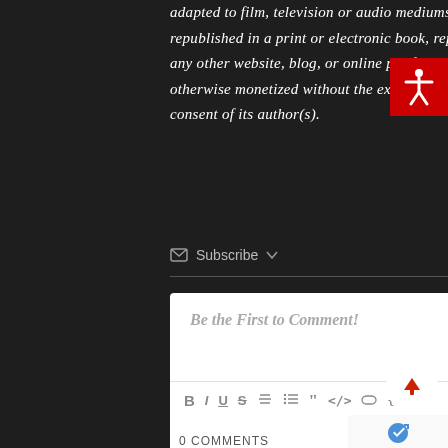adapted to film, television or audio mediums, republished in a print or electronic book, reposted on any other website, blog, or online platform, or otherwise monetized without the express written consent of its author(s).
✉ Subscribe ▾
Be the First to Comment!
[Figure (screenshot): Comment text editor toolbar with formatting icons: B I U S ordered-list unordered-list blockquote code link code-block [+] and image icon]
[Figure (illustration): Red accessibility icon button (person with arms outstretched) in top right corner]
[Figure (illustration): White circular scroll-to-top button with red upward arrow]
[Figure (logo): Google reCAPTCHA badge with Privacy and Terms text]
0 COMMENTS